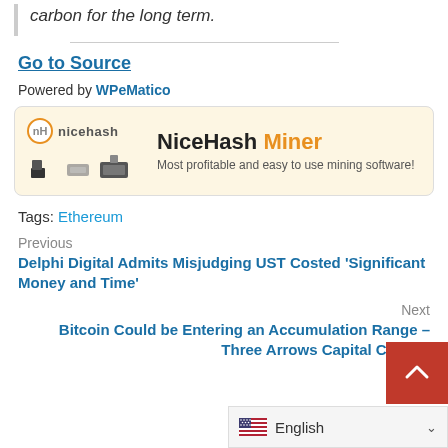carbon for the long term.
Go to Source
Powered by WPeMatico
[Figure (illustration): NiceHash Miner advertisement banner showing logo, mining hardware images, and text 'NiceHash Miner – Most profitable and easy to use mining software!']
Tags: Ethereum
Previous
Delphi Digital Admits Misjudging UST Costed 'Significant Money and Time'
Next
Bitcoin Could be Entering an Accumulation Range – Three Arrows Capital Co-fo…